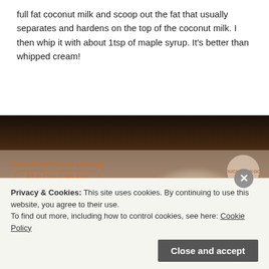full fat coconut milk and scoop out the fat that usually separates and hardens on the top of the coconut milk. I then whip it with about 1tsp of maple syrup. It's better than whipped cream!
[Figure (photo): Photo of a white bowl or plate seen from above, placed on dark rocky ground with some foliage visible in the background.]
Privacy & Cookies: This site uses cookies. By continuing to use this website, you agree to their use.
To find out more, including how to control cookies, see here: Cookie Policy